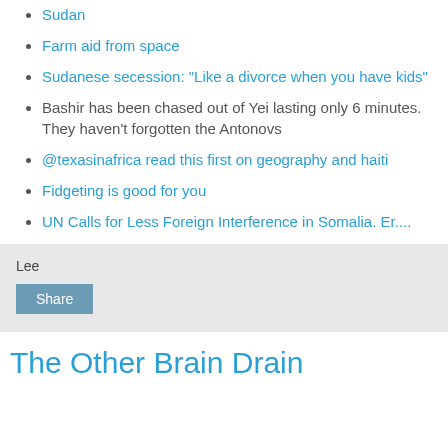Sudan
Farm aid from space
Sudanese secession: "Like a divorce when you have kids"
Bashir has been chased out of Yei lasting only 6 minutes. They haven't forgotten the Antonovs
@texasinafrica read this first on geography and haiti
Fidgeting is good for you
UN Calls for Less Foreign Interference in Somalia. Er....
Lee
Share
The Other Brain Drain